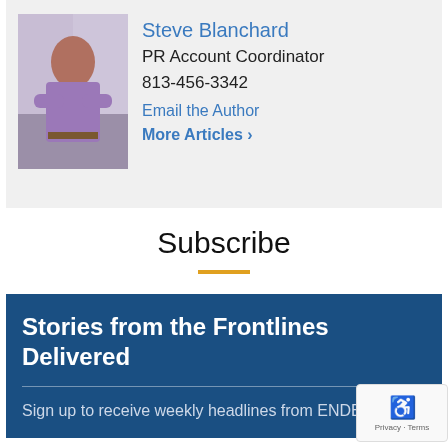[Figure (photo): Photo of Steve Blanchard, a man with arms crossed wearing a purple shirt, standing outdoors]
Steve Blanchard
PR Account Coordinator
813-456-3342
Email the Author
More Articles >
Subscribe
Stories from the Frontlines Delivered
Sign up to receive weekly headlines from ENDEAVOR